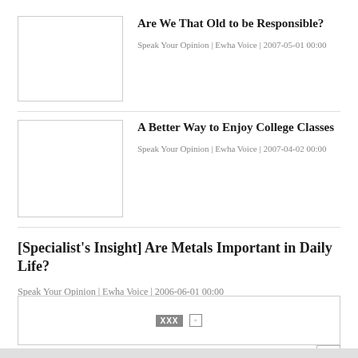[Figure (photo): Blank placeholder image for article 1]
Are We That Old to be Responsible?
Speak Your Opinion | Ewha Voice | 2007-05-01 00:00
[Figure (photo): Blank placeholder image for article 2]
A Better Way to Enjoy College Classes
Speak Your Opinion | Ewha Voice | 2007-04-02 00:00
[Specialist's Insight] Are Metals Important in Daily Life?
Speak Your Opinion | Ewha Voice | 2006-06-01 00:00
[Figure (other): Advertisement box with XXX placeholder and icon]